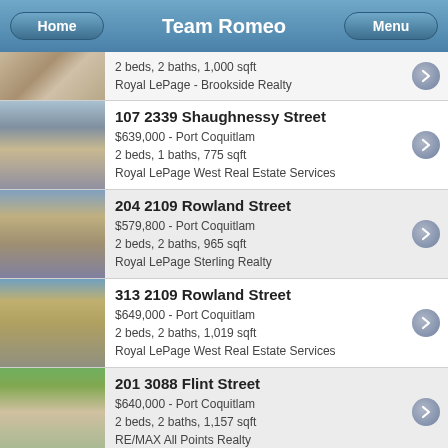Team Romeo
2 beds, 2 baths, 1,000 sqft
Royal LePage - Brookside Realty
107 2339 Shaughnessy Street
$639,000 - Port Coquitlam
2 beds, 1 baths, 775 sqft
Royal LePage West Real Estate Services
204 2109 Rowland Street
$579,800 - Port Coquitlam
2 beds, 2 baths, 965 sqft
Royal LePage Sterling Realty
313 2109 Rowland Street
$649,000 - Port Coquitlam
2 beds, 2 baths, 1,019 sqft
Royal LePage West Real Estate Services
201 3088 Flint Street
$640,000 - Port Coquitlam
2 beds, 2 baths, 1,157 sqft
RE/MAX All Points Realty
102 1669 Grant Avenue
$599,900 - Port Coquitlam
2 beds, 1 baths, 915 sqft